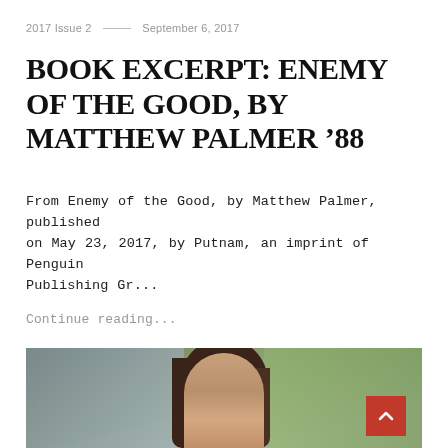2017 Issue 2 — September 6, 2017
BOOK EXCERPT: ENEMY OF THE GOOD, BY MATTHEW PALMER '88
From Enemy of the Good, by Matthew Palmer, published on May 23, 2017, by Putnam, an imprint of Penguin Publishing Gr...
Continue reading...
[Figure (photo): Portrait photo of a woman with dark brown hair, looking at the camera, with green foliage and building visible in background]